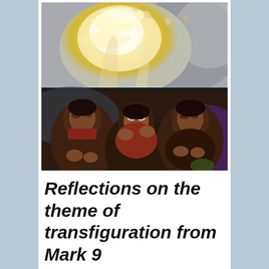[Figure (illustration): A religious painting in two sections: the upper half shows radiant golden/white light with luminous figures and outstretched hands amid swirling clouds; the lower half depicts three figures with dark robes, eyes closed or looking up, in postures of awe or prayer — representing the Transfiguration scene from Mark 9.]
Reflections on the theme of transfiguration from Mark 9